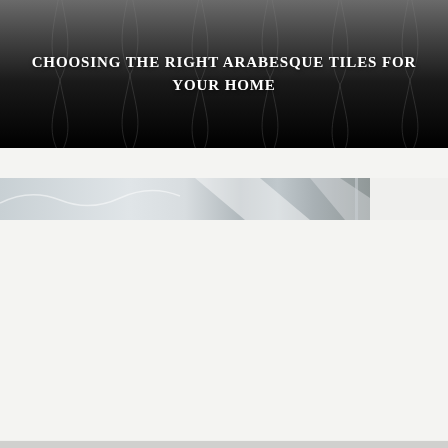[Figure (photo): Dark background hero image with subtle organic/floral line patterns overlaid, transitioning from gray at top to near-black at bottom. Decorative arabesque or tile-inspired line art in the background.]
CHOOSING THE RIGHT ARABESQUE TILES FOR YOUR HOME
[Figure (photo): Partial horizontal photo strip showing white/light-colored arabesque or ornamental tiles, architectural detail with white molding or columns visible on the right side. Light gray and white tones.]